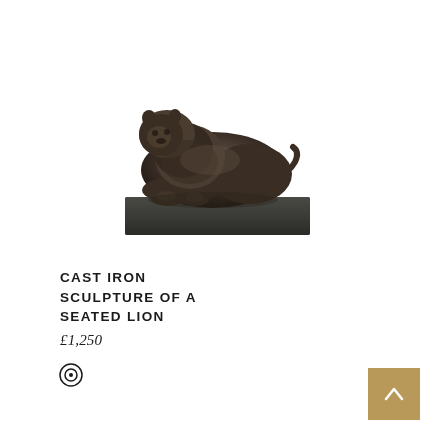[Figure (photo): Bronze/cast iron sculpture of a seated lion resting on a rectangular dark stone base, viewed from a slightly elevated angle. The lion is in a reclining pose facing left.]
CAST IRON SCULPTURE OF A SEATED LION
£1,250
[Figure (illustration): A circular eye/target icon (concentric circles symbol)]
[Figure (other): Tan/gold colored square button with a white upward-pointing chevron arrow, positioned at bottom-right corner as a back-to-top navigation button]